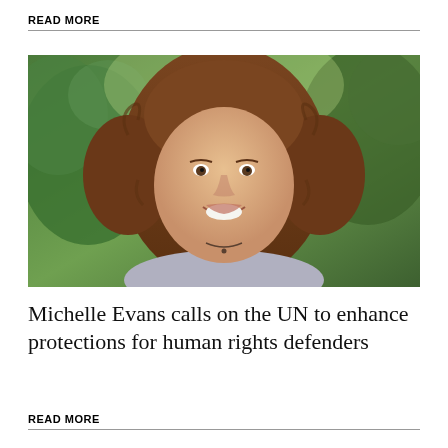READ MORE
[Figure (photo): Portrait photo of Michelle Evans, a woman with curly brown hair, smiling, with green foliage in the background.]
Michelle Evans calls on the UN to enhance protections for human rights defenders
READ MORE